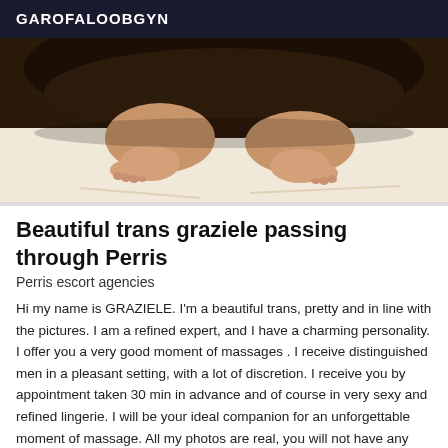GAROFALOOBGYN
[Figure (photo): Photo of a person lying on a white surface, showing legs and feet from behind]
Beautiful trans graziele passing through Perris
Perris escort agencies
Hi my name is GRAZIELE. I'm a beautiful trans, pretty and in line with the pictures. I am a refined expert, and I have a charming personality. I offer you a very good moment of massages . I receive distinguished men in a pleasant setting, with a lot of discretion. I receive you by appointment taken 30 min in advance and of course in very sexy and refined lingerie. I will be your ideal companion for an unforgettable moment of massage. All my photos are real, you will not have any bad surprise